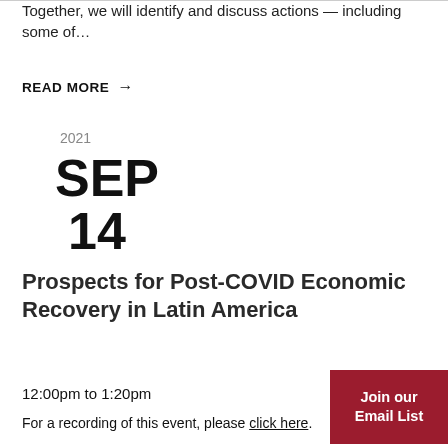Together, we will identify and discuss actions — including some of…
READ MORE →
2021
SEP
14
Prospects for Post-COVID Economic Recovery in Latin America
12:00pm to 1:20pm
Join our Email List
For a recording of this event, please click here.